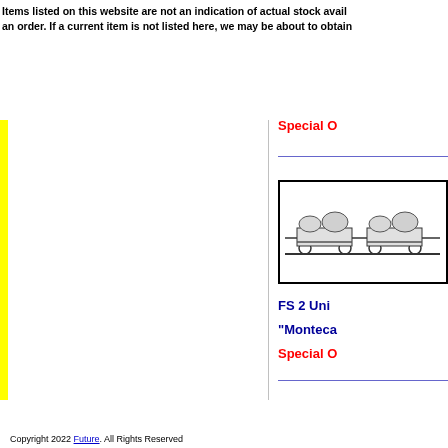Items listed on this website are not an indication of actual stock availability. Please contact us to place an order. If a current item is not listed here, we may be about to obtain stock.
Special O
[Figure (illustration): Drawing of FS 2 unit train wagons (Montecatini type) shown in side profile, black and white illustration in a bordered box]
FS 2 Uni
“Monteca
Special O
Copyright 2022 Future. All Rights Reserved